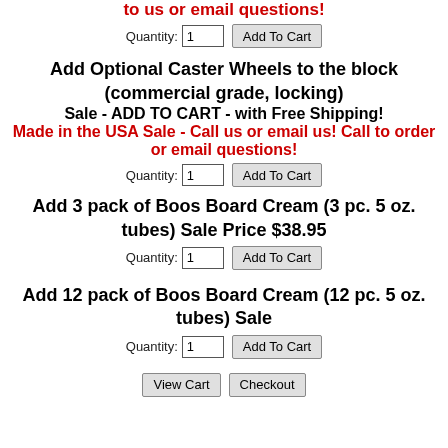to us or email questions! (partial, top)
Quantity: 1  Add To Cart
Add Optional Caster Wheels to the block (commercial grade, locking)
Sale - ADD TO CART - with Free Shipping!
Made in the USA Sale - Call us or email us! Call to order or email questions!
Quantity: 1  Add To Cart
Add 3 pack of Boos Board Cream (3 pc. 5 oz. tubes) Sale Price $38.95
Quantity: 1  Add To Cart
Add 12 pack of Boos Board Cream (12 pc. 5 oz. tubes) Sale
Quantity: 1  Add To Cart
View Cart  Checkout